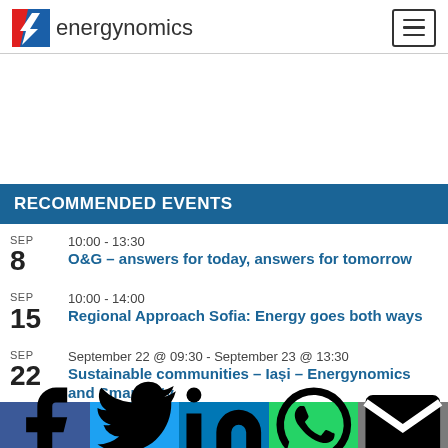energynomics
RECOMMENDED EVENTS
SEP 8 | 10:00 - 13:30 | O&G – answers for today, answers for tomorrow
SEP 15 | 10:00 - 14:00 | Regional Approach Sofia: Energy goes both ways
SEP 22 | September 22 @ 09:30 - September 23 @ 13:30 | Sustainable communities – Iași – Energynomics and SmartiCity
f | Twitter | in | WhatsApp | Email